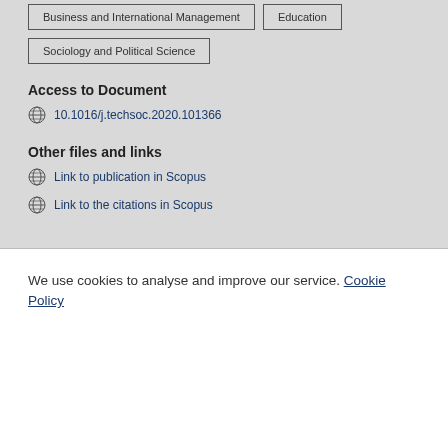Business and International Management
Education
Sociology and Political Science
Access to Document
10.1016/j.techsoc.2020.101366
Other files and links
Link to publication in Scopus
Link to the citations in Scopus
We use cookies to analyse and improve our service. Cookie Policy